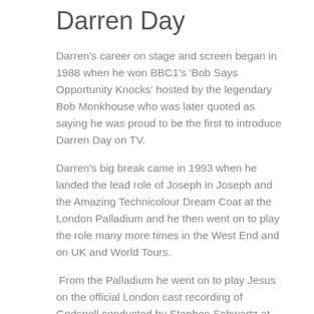Darren Day
Darren's career on stage and screen began in 1988 when he won BBC1's 'Bob Says Opportunity Knocks' hosted by the legendary Bob Monkhouse who was later quoted as saying he was proud to be the first to introduce Darren Day on TV.
Darren's big break came in 1993 when he landed the lead role of Joseph in Joseph and the Amazing Technicolour Dream Coat at the London Palladium and he then went on to play the role many more times in the West End and on UK and World Tours.
From the Palladium he went on to play Jesus on the official London cast recording of Godspell conducted by Stephen Schwartz at the iconic